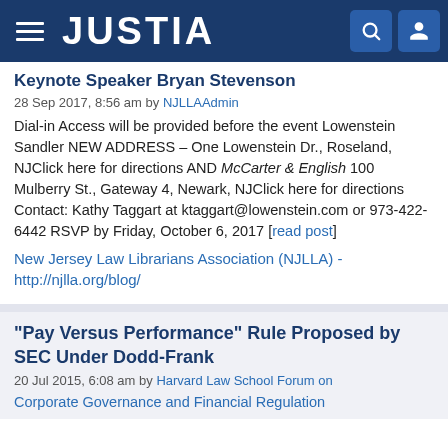JUSTIA
Keynote Speaker Bryan Stevenson
28 Sep 2017, 8:56 am by NJLLAAdmin
Dial-in Access will be provided before the event Lowenstein Sandler NEW ADDRESS – One Lowenstein Dr., Roseland, NJClick here for directions AND McCarter & English 100 Mulberry St., Gateway 4, Newark, NJClick here for directions Contact: Kathy Taggart at ktaggart@lowenstein.com or 973-422-6442 RSVP by Friday, October 6, 2017 [read post]
New Jersey Law Librarians Association (NJLLA) - http://njlla.org/blog/
“Pay Versus Performance” Rule Proposed by SEC Under Dodd-Frank
20 Jul 2015, 6:08 am by Harvard Law School Forum on Corporate Governance and Financial Regulation